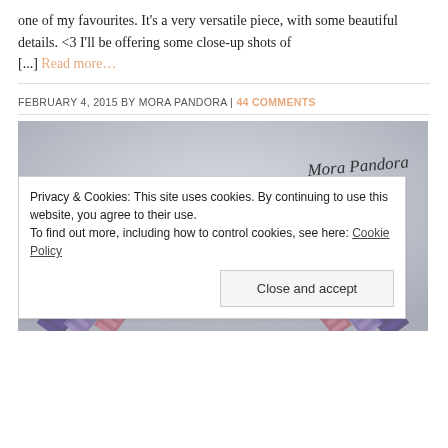one of my favourites. It's a very versatile piece, with some beautiful details. <3 I'll be offering some close-up shots of [...] Read more...
FEBRUARY 4, 2015 BY MORA PANDORA | 44 COMMENTS
[Figure (photo): Close-up photo of purple and pink braided bracelets on a light grey background, with 'Mora Pandora' handwritten text in top right corner]
Privacy & Cookies: This site uses cookies. By continuing to use this website, you agree to their use. To find out more, including how to control cookies, see here: Cookie Policy